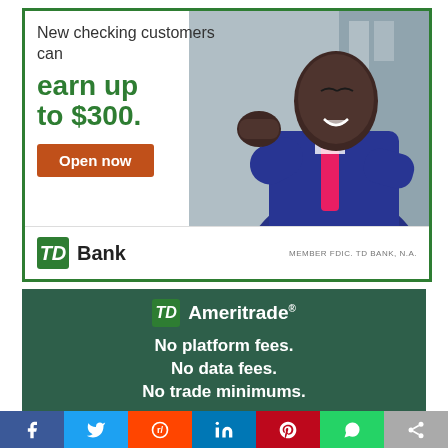[Figure (advertisement): TD Bank advertisement. White background with green border. Shows a happy Black man in a suit with fist raised. Text reads: 'New checking customers can earn up to $300.' with orange 'Open now' button. TD Bank logo and 'MEMBER FDIC, TD BANK, N.A.' at bottom.]
[Figure (advertisement): TD Ameritrade advertisement on dark green background. TD Ameritrade logo at top center. Text reads: 'No platform fees. No data fees. No trade minimums.']
[Figure (infographic): Social media sharing bar at bottom with icons for Facebook (blue), Twitter (light blue), Reddit (orange), LinkedIn (blue), Pinterest (red), WhatsApp (green), and share (gray).]